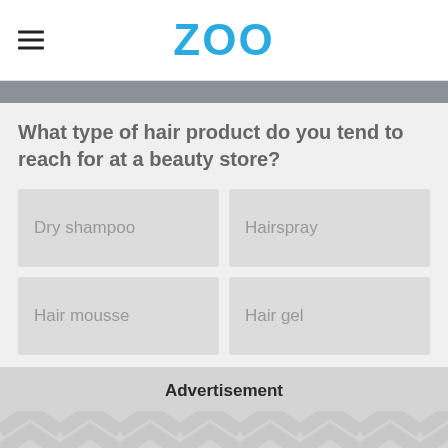ZOO
What type of hair product do you tend to reach for at a beauty store?
Dry shampoo
Hairspray
Hair mousse
Hair gel
Advertisement